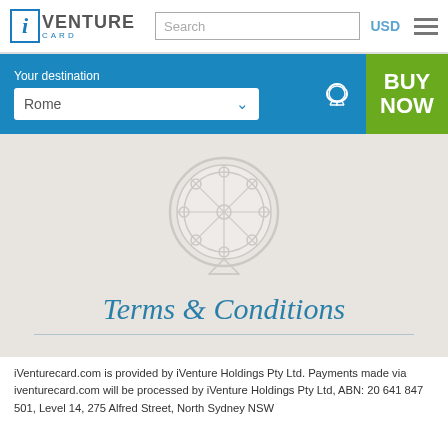iVENTURE CARD | Search | USD
Your destination
Rome
BUY NOW
[Figure (illustration): Ferris wheel icon inside a circle, light gray on gray background]
Terms & Conditions
iVenturecard.com is provided by iVenture Holdings Pty Ltd. Payments made via iventurecard.com will be processed by iVenture Holdings Pty Ltd, ABN: 20 641 847 501, Level 14, 275 Alfred Street, North Sydney NSW